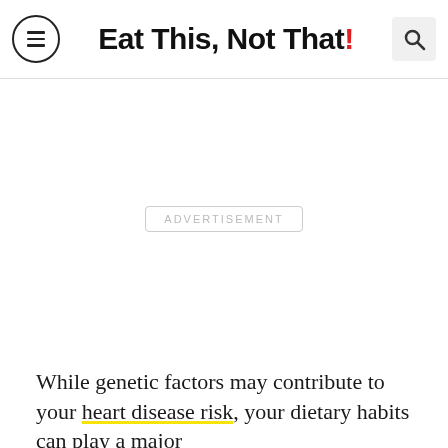Eat This, Not That!
[Figure (other): Advertisement placeholder area]
While genetic factors may contribute to your heart disease risk, your dietary habits can play a major